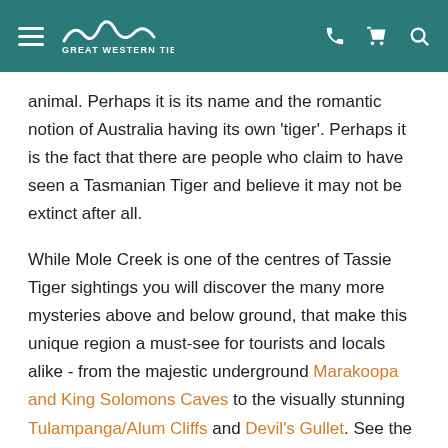GREAT WESTERN TIERS
animal. Perhaps it is its name and the romantic notion of Australia having its own 'tiger'. Perhaps it is the fact that there are people who claim to have seen a Tasmanian Tiger and believe it may not be extinct after all.
While Mole Creek is one of the centres of Tassie Tiger sightings you will discover the many more mysteries above and below ground, that make this unique region a must-see for tourists and locals alike - from the majestic underground Marakoopa and King Solomons Caves to the visually stunning Tulampanga/Alum Cliffs and Devil's Gullet. See the Tasmanian Devil and other fascinating native animals at the Trowunna Wildlife Sanctuary and the